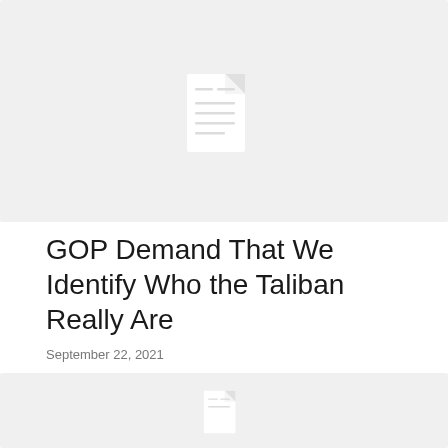[Figure (other): Gray card with a white document/file icon placeholder image]
GOP Demand That We Identify Who the Taliban Really Are
September 22, 2021
[Figure (other): Gray card with a white document/file icon placeholder image (partially visible at bottom)]